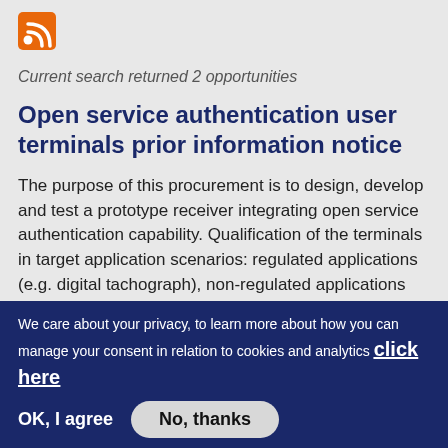[Figure (logo): RSS/feed icon — orange and white square icon with RSS signal symbol]
Current search returned 2 opportunities
Open service authentication user terminals prior information notice
The purpose of this procurement is to design, develop and test a prototype receiver integrating open service authentication capability. Qualification of the terminals in target application scenarios: regulated applications (e.g. digital tachograph), non-regulated applications (e.g. commercially sensitive LBS) are also targeted. Performance tests shall be carried out in
We care about your privacy, to learn more about how you can manage your consent in relation to cookies and analytics click here
OK, I agree   No, thanks